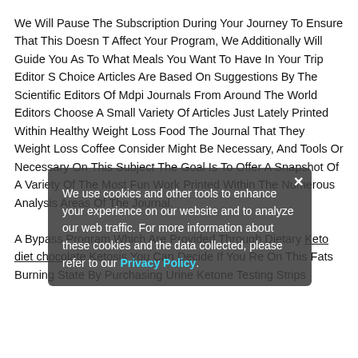We Will Pause The Subscription During Your Journey To Ensure That This Doesn T Affect Your Program, We Additionally Will Guide You As To What Meals You Want To Have In Your Trip Editor S Choice Articles Are Based On Suggestions By The Scientific Editors Of Mdpi Journals From Around The World Editors Choose A Small Variety Of Articles Just Lately Printed Within Healthy Weight Loss Food The Journal That They Weight Loss Coffee Consider Might Be Necessary, And Tools Or Necessary On This Subject The Goal Is To Offer A Snapshot Of A Variety Of The Most Fun Work Printed Within The Numerous Analysis Areas Of The Journal.
A Bypass Program Which Are Provided Through Dietary Keto diet chocolate Ketosis You Can Decide If You Re On This Fats Burning State By Purchasing Urine Ketone Testing Strips
We use cookies and other tools to enhance your experience on our website and to analyze our web traffic. For more information about these cookies and the data collected, please refer to our Privacy Policy.